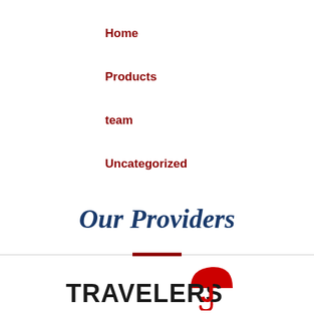Home
Products
team
Uncategorized
Our Providers
[Figure (logo): Travelers insurance company logo with red umbrella icon and bold text 'TRAVELERS' with a red J]